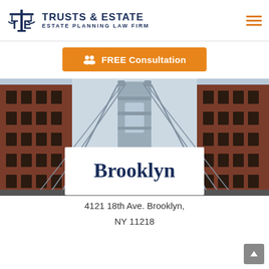[Figure (logo): Trusts & Estate law firm logo with scales of justice icon and text: TRUSTS & ESTATE / ESTATE PLANNING LAW FIRM]
FREE Consultation
[Figure (photo): Street-level view looking up between brick buildings toward the Manhattan Bridge cables and tower]
Brooklyn
4121 18th Ave. Brooklyn, NY 11218